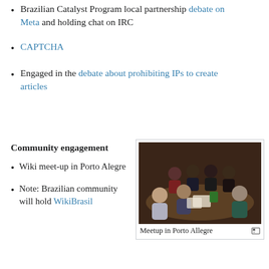Brazilian Catalyst Program local partnership debate on Meta and holding chat on IRC
CAPTCHA
Engaged in the debate about prohibiting IPs to create articles
Community engagement
Wiki meet-up in Porto Alegre
Note: Brazilian community will hold WikiBrasil
[Figure (photo): Group photo of people sitting around a table at a meetup in Porto Alegre]
Meetup in Porto Allegre